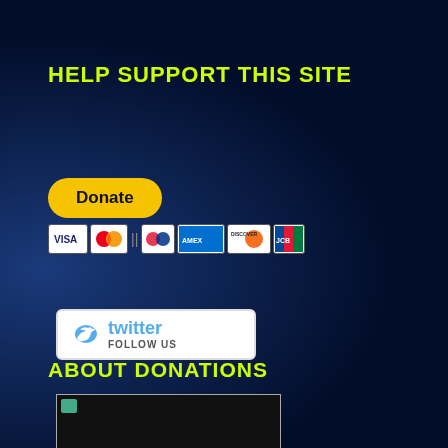HELP SUPPORT THIS SITE
[Figure (infographic): PayPal Donate button with payment card logos (Visa, Mastercard, American Express, Discover, JCB)]
ABOUT DONATIONS
[Figure (infographic): Twitter Follow Us button with bird logo]
[Figure (photo): Partially visible image placeholder with small green icon in top-left corner]